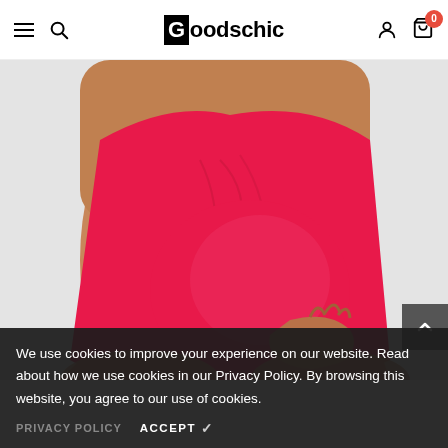Goodschic — navigation header with hamburger menu, search, logo, user icon, cart (0)
[Figure (photo): A pregnant woman wearing a red/pink one-piece swimsuit, holding her baby bump with one hand. The image is cropped to show the torso and hips area.]
We use cookies to improve your experience on our website. Read about how we use cookies in our Privacy Policy. By browsing this website, you agree to our use of cookies.
PRIVACY POLICY  ACCEPT ✓